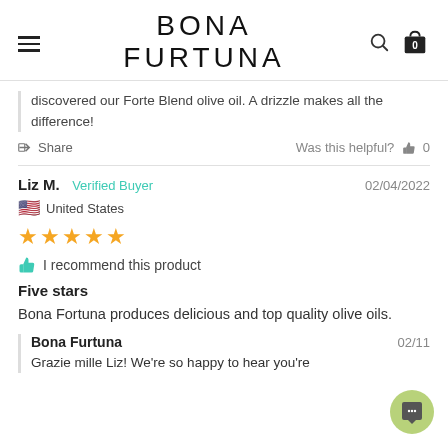BONA FURTUNA
discovered our Forte Blend olive oil. A drizzle makes all the difference!
Share   Was this helpful?  👍 0
Liz M.  Verified Buyer   02/04/2022
🇺🇸 United States
★★★★★
👍 I recommend this product
Five stars
Bona Fortuna produces delicious and top quality olive oils.
Bona Furtuna   02/11
Grazie mille Liz! We're so happy to hear you're